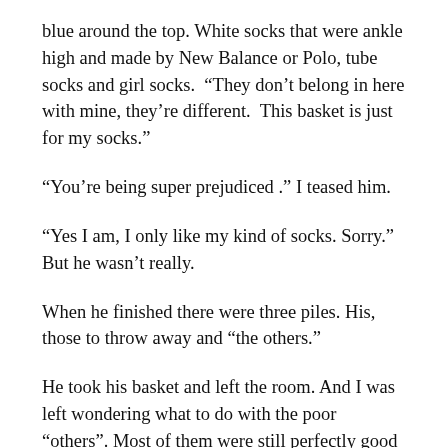blue around the top. White socks that were ankle high and made by New Balance or Polo, tube socks and girl socks.  “They don’t belong in here with mine, they’re different.  This basket is just for my socks.”
“You’re being super prejudiced .” I teased him.
“Yes I am, I only like my kind of socks. Sorry.” But he wasn’t really.
When he finished there were three piles. His, those to throw away and “the others.”
He took his basket and left the room. And I was left wondering what to do with the poor “others”. Most of them were still perfectly good socks. First, I matched up the ones I could, there would be a home for them.  But what about the rest?